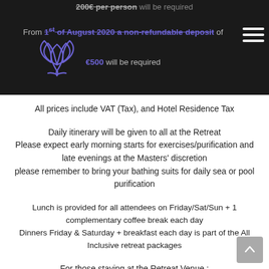200€ per person will be required. From 1st of August 2020 a non-refundable deposit of €500 will be required
[Figure (logo): Lotus flower logo in purple/violet outline style]
All prices include VAT (Tax), and Hotel Residence Tax
Daily itinerary will be given to all at the Retreat
Please expect early morning starts for exercises/purification and late evenings at the Masters' discretion
please remember to bring your bathing suits for daily sea or pool purification
Lunch is provided for all attendees on Friday/Sat/Sun + 1 complementary coffee break each day
Dinners Friday & Saturday + breakfast each day is part of the All Inclusive retreat packages
For those staying at the Retreat Venue :